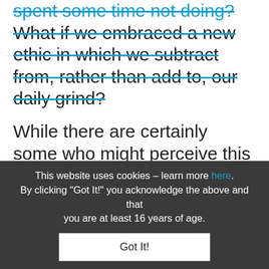spent some time not doing? What if we embraced a new ethic in which we subtract from, rather than add to, our daily grind?
While there are certainly some who might perceive this notion as a recipe for economic collapse and cultural ruin, there is also ample evidence to suggest that doing nothing on a regular basis can actually inspire greater creativity and lead to a more productive life.
Western culture, for instance, is replete with tales of brilliant thinkers, artists li...
This website uses cookies – learn more here. By clicking "Got It!" you acknowledge the above and that you are at least 16 years of age.